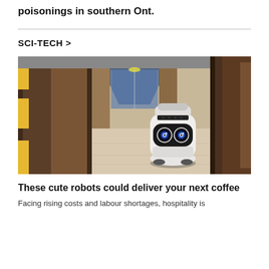poisonings in southern Ont.
SCI-TECH >
[Figure (photo): A white wheeled delivery robot with large round glowing eyes navigates a modern hotel hallway with wooden panelled walls and glass doors.]
These cute robots could deliver your next coffee
Facing rising costs and labour shortages, hospitality is